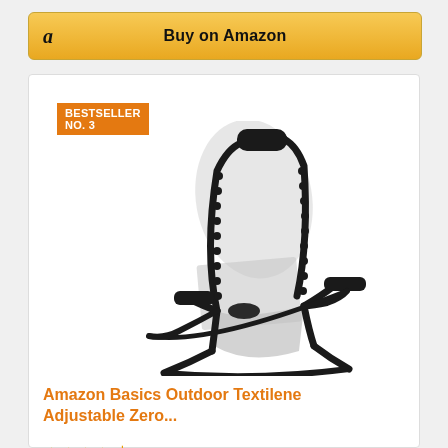[Figure (screenshot): Amazon 'Buy on Amazon' button with Amazon logo and golden background]
BESTSELLER NO. 3
[Figure (photo): Black reclining zero gravity outdoor chair/lounger with mesh textilene fabric, adjustable back, armrests, and headrest pillow]
Amazon Basics Outdoor Textilene Adjustable Zero...
★★★★½ (7536)
[Figure (logo): Amazon Prime logo with blue checkmark and Prime text]